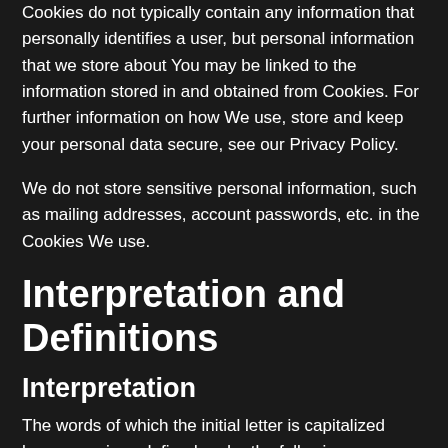Cookies do not typically contain any information that personally identifies a user, but personal information that we store about You may be linked to the information stored in and obtained from Cookies. For further information on how We use, store and keep your personal data secure, see our Privacy Policy.
We do not store sensitive personal information, such as mailing addresses, account passwords, etc. in the Cookies We use.
Interpretation and Definitions
Interpretation
The words of which the initial letter is capitalized have meanings defined under the following